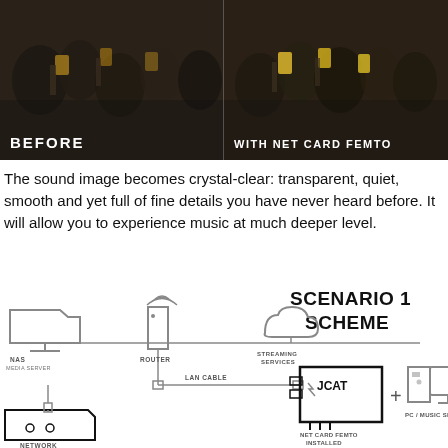[Figure (photo): Two side-by-side dark photos of a crowd of people at a concert/event holding phones. Left half labeled 'BEFORE', right half labeled 'WITH NET CARD FENTO'.]
The sound image becomes crystal-clear: transparent, quiet, smooth and yet full of fine details you have never heard before. It will allow you to experience music at much deeper level.
[Figure (schematic): A network diagram showing Scenario 1 Scheme. Icons for NAS (Media Server), Router, Streaming Services connected by a horizontal line at top. From Router a LAN Cable runs down to a JCAT Net Card Femto installed in a PC/Music Server. A Network device is shown at bottom left connected via LAN cable to the JCAT card. Labels: NAS MEDIA SERVER, ROUTER, STREAMING SERVICES, LAN CABLE, NET CARD FEMTO INSTALLED, PC / MUSIC SERVER, NETWORK. Text 'SCENARIO 1 SCHEME' appears in bold on the upper right of the diagram area.]